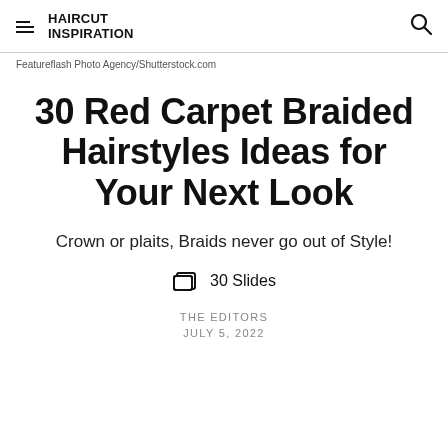HAIRCUT INSPIRATION
Featureflash Photo Agency/Shutterstock.com
30 Red Carpet Braided Hairstyles Ideas for Your Next Look
Crown or plaits, Braids never go out of Style!
30 Slides
THE EDITORS
JULY 5, 2022